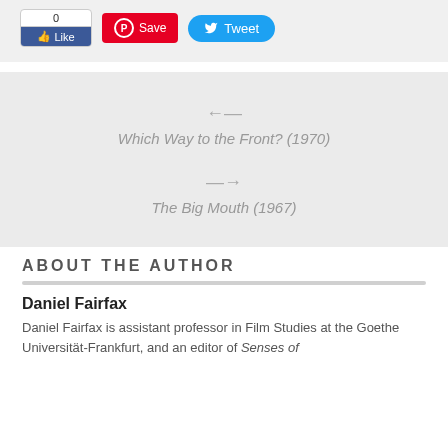[Figure (screenshot): Social media sharing buttons: Facebook Like (count: 0), Pinterest Save, Twitter Tweet]
[Figure (screenshot): Navigation arrows showing previous article 'Which Way to the Front? (1970)' with left arrow, and next article 'The Big Mouth (1967)' with right arrow]
ABOUT THE AUTHOR
Daniel Fairfax
Daniel Fairfax is assistant professor in Film Studies at the Goethe Universität-Frankfurt, and an editor of Senses of